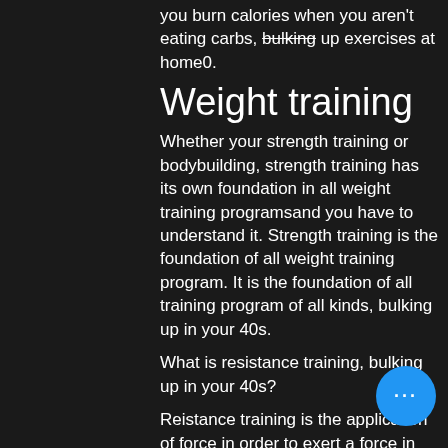you burn calories when you aren't eating carbs, bulking up exercises at home0.
Weight training
Whether your strength training or bodybuilding, strength training has its own foundation in all weight training programsand you have to understand it. Strength training is the foundation of all weight training program. It is the foundation of all training program of all kinds, bulking up in your 40s.
What is resistance training, bulking up in your 40s?
Reistance training is the application of force in order to exert a force in return. The way that the resistance is applied (tried and tested) is called resistance training. The strength of the person who is doing the training is used as the basis for determ... the level of the resistance being applied (the